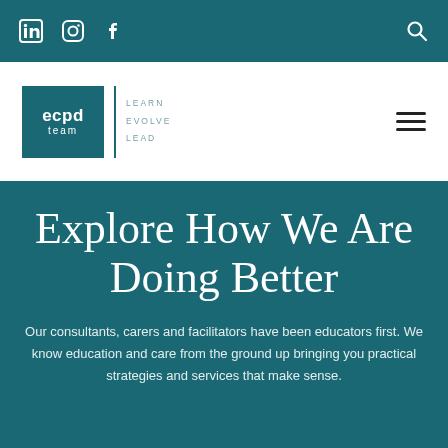LinkedIn Instagram Facebook [social icons] [search icon]
[Figure (logo): ECPD Team logo with teal background box showing 'ecpd team' text and tagline 'LEARN EVOLVE LEAD' beside it, with hamburger menu icon on right]
Explore How We Are Doing Better
Our consultants, carers and facilitators have been educators first. We know education and care from the ground up bringing you practical strategies and services that make sense.